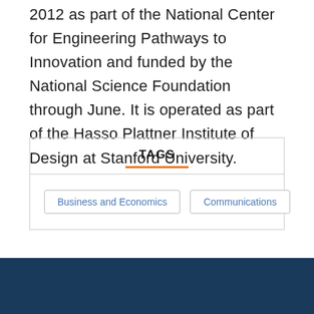2012 as part of the National Center for Engineering Pathways to Innovation and funded by the National Science Foundation through June. It is operated as part of the Hasso Plattner Institute of Design at Stanford University.
TAGS
Business and Economics
Communications